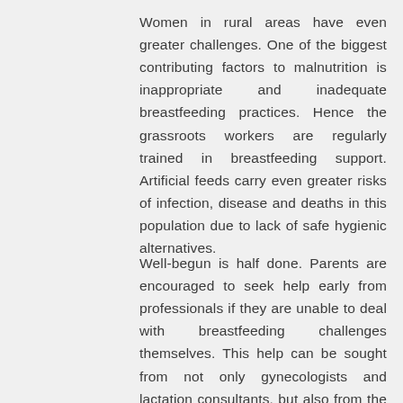Women in rural areas have even greater challenges. One of the biggest contributing factors to malnutrition is inappropriate and inadequate breastfeeding practices. Hence the grassroots workers are regularly trained in breastfeeding support. Artificial feeds carry even greater risks of infection, disease and deaths in this population due to lack of safe hygienic alternatives.
Well-begun is half done. Parents are encouraged to seek help early from professionals if they are unable to deal with breastfeeding challenges themselves. This help can be sought from not only gynecologists and lactation consultants, but also from the midwives and ASHA workers in the rural